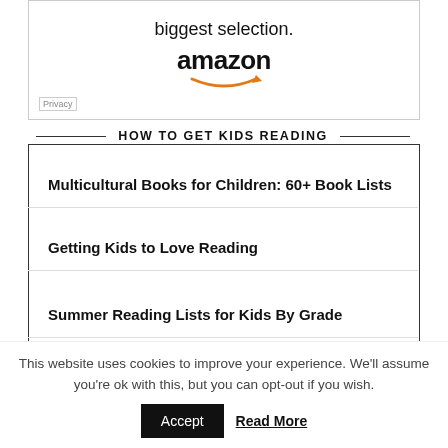[Figure (other): Amazon advertisement box showing 'biggest selection.' text and Amazon logo with smile arrow]
HOW TO GET KIDS READING
Multicultural Books for Children: 60+ Book Lists
Getting Kids to Love Reading
Summer Reading Lists for Kids By Grade
Summer Reading Lists for Middle School Kids
This website uses cookies to improve your experience. We'll assume you're ok with this, but you can opt-out if you wish.
Accept  Read More